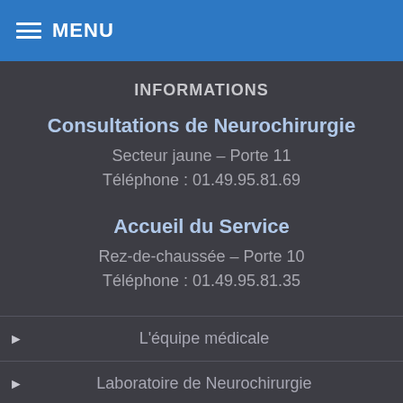MENU
INFORMATIONS
Consultations de Neurochirurgie
Secteur jaune – Porte 11
Téléphone : 01.49.95.81.69
Accueil du Service
Rez-de-chaussée – Porte 10
Téléphone : 01.49.95.81.35
L'équipe médicale
Laboratoire de Neurochirurgie